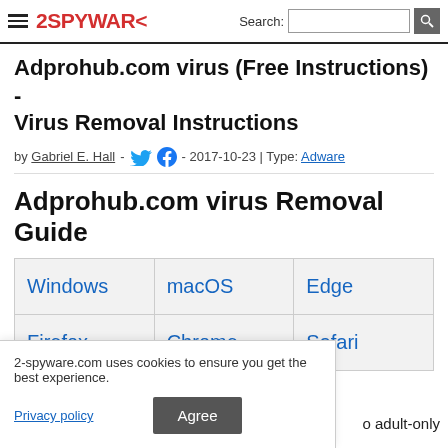2SPYWARE — navigation header with search
Adprohub.com virus (Free Instructions) - Virus Removal Instructions
by Gabriel E. Hall - 2017-10-23 | Type: Adware
Adprohub.com virus Removal Guide
| Windows | macOS | Edge | Firefox | Chrome | Safari |
| --- | --- | --- | --- | --- | --- |
| Windows | macOS | Edge |
| Firefox | Chrome | Safari |
2-spyware.com uses cookies to ensure you get the best experience.
Privacy policy   Agree   o adult-only